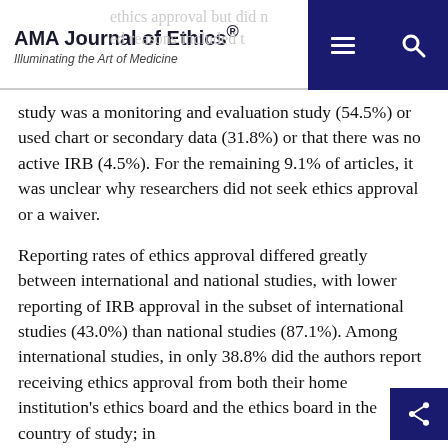AMA Journal of Ethics® — Illuminating the Art of Medicine
study was a monitoring and evaluation study (54.5%) or used chart or secondary data (31.8%) or that there was no active IRB (4.5%). For the remaining 9.1% of articles, it was unclear why researchers did not seek ethics approval or a waiver.
Reporting rates of ethics approval differed greatly between international and national studies, with lower reporting of IRB approval in the subset of international studies (43.0%) than national studies (87.1%). Among international studies, in only 38.8% did the authors report receiving ethics approval from both their home institution's ethics board and the ethics board in the country of study; in